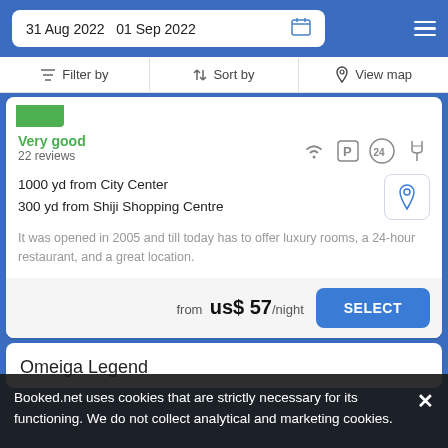31 Aug 2022  01 Sep 2022
Filter by  Sort by  View map
Very good
22 reviews
1000 yd from City Center
300 yd from Shiji Shopping Centre
It was opened in 2005 and till today has to offer luxury rooms, a 24-hour restaurant, and a great location.
from  us$ 57/night
Omeiga Legend
Booked.net uses cookies that are strictly necessary for its functioning. We do not collect analytical and marketing cookies.